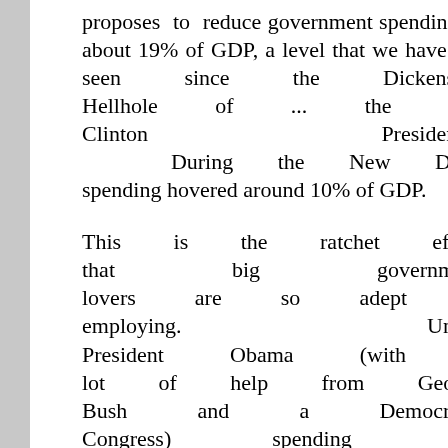proposes to reduce government spending to about 19% of GDP, a level that we have not seen since the Dickensian Hellhole of ... the Bill Clinton Presidency.
  During the New Deal, spending hovered around 10% of GDP.
This is the ratchet effect that big government lovers are so adept at employing. Under President Obama (with a lot of help from George Bush and a Democratic Congress) spending has skyrocketed to an unprecedented-except-in-